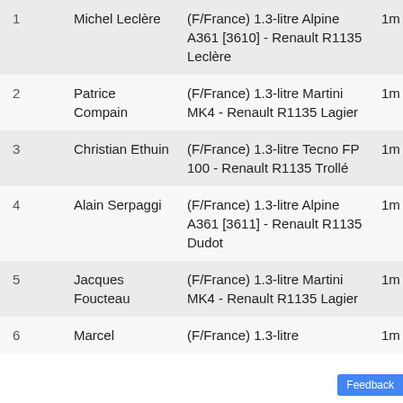| # | Driver | Car | Time |
| --- | --- | --- | --- |
| 1 | Michel Leclère | (F/France) 1.3-litre Alpine A361 [3610] - Renault R1135 Leclère | 1m 38.0s |
| 2 | Patrice Compain | (F/France) 1.3-litre Martini MK4 - Renault R1135 Lagier | 1m 38.1s |
| 3 | Christian Ethuin | (F/France) 1.3-litre Tecno FP 100 - Renault R1135 Trollé | 1m 38.8s |
| 4 | Alain Serpaggi | (F/France) 1.3-litre Alpine A361 [3611] - Renault R1135 Dudot | 1m 39.0s |
| 5 | Jacques Foucteau | (F/France) 1.3-litre Martini MK4 - Renault R1135 Lagier | 1m 39.4s |
| 6 | Marcel ... | (F/France) 1.3-litre ... | 1m ... |